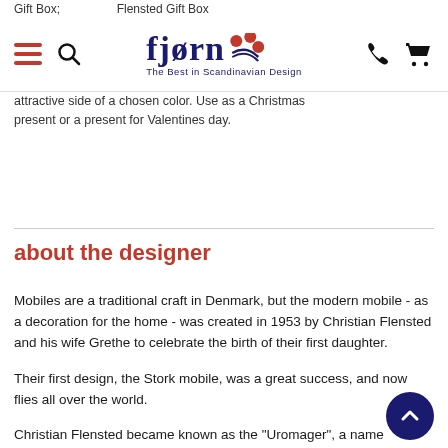Flensted Gift Box
[Figure (logo): Fjorn logo with red berries/dots decoration, tagline 'The Best in Scandinavian Design']
attractive side of a chosen color. Use as a Christmas present or a present for Valentines day.
about the designer
Mobiles are a traditional craft in Denmark, but the modern mobile - as a decoration for the home - was created in 1953 by Christian Flensted and his wife Grethe to celebrate the birth of their first daughter.
Their first design, the Stork mobile, was a great success, and now flies all over the world.
Christian Flensted became known as the "Uromager", a name impossible to translate into English, which means a "maker of mischievous things that are always on the move."
In 1956 Christian Flensted gave up his job to devote his entire effort to the